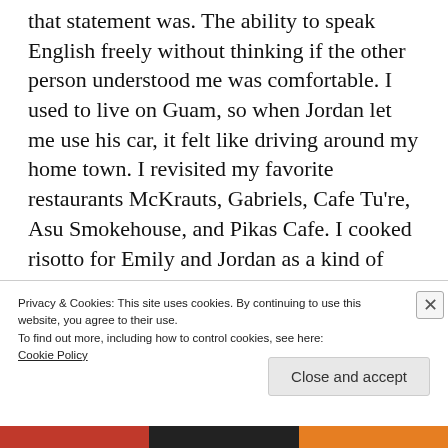that statement was.  The ability to speak English freely without thinking if the other person understood me was comfortable.  I used to live on Guam, so when Jordan let me use his car, it felt like driving around my home town.  I revisited my favorite restaurants McKrauts, Gabriels, Cafe Tu're, Asu Smokehouse, and Pikas Cafe.  I cooked risotto for Emily and Jordan as a kind of payment for hosting me.  I'm so thankful to have friends on the other side of the world.
Privacy & Cookies: This site uses cookies. By continuing to use this website, you agree to their use.
To find out more, including how to control cookies, see here:
Cookie Policy
Close and accept